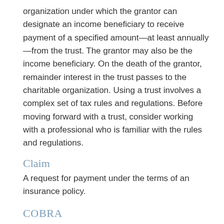organization under which the grantor can designate an income beneficiary to receive payment of a specified amount—at least annually—from the trust. The grantor may also be the income beneficiary. On the death of the grantor, remainder interest in the trust passes to the charitable organization. Using a trust involves a complex set of tax rules and regulations. Before moving forward with a trust, consider working with a professional who is familiar with the rules and regulations.
Claim
A request for payment under the terms of an insurance policy.
COBRA
A federal law that requires group health plans sponsored by employers with more than 20 employees to offer terminated or retired employees the opportunity to continue their health insurance coverage for a specified period. A premium is charged.